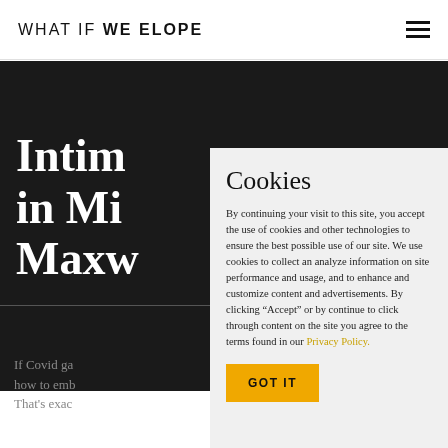WHAT IF WE ELOPE
Intim… in Mi… Maxw…
If Covid ga… how to emb… That's exac…
Cookies
By continuing your visit to this site, you accept the use of cookies and other technologies to ensure the best possible use of our site. We use cookies to collect an analyze information on site performance and usage, and to enhance and customize content and advertisements. By clicking “Accept” or by continue to click through content on the site you agree to the terms found in our Privacy Policy.
GOT IT